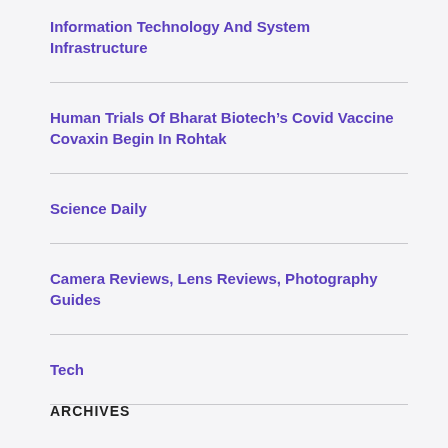Information Technology And System Infrastructure
Human Trials Of Bharat Biotech’s Covid Vaccine Covaxin Begin In Rohtak
Science Daily
Camera Reviews, Lens Reviews, Photography Guides
Tech
ARCHIVES